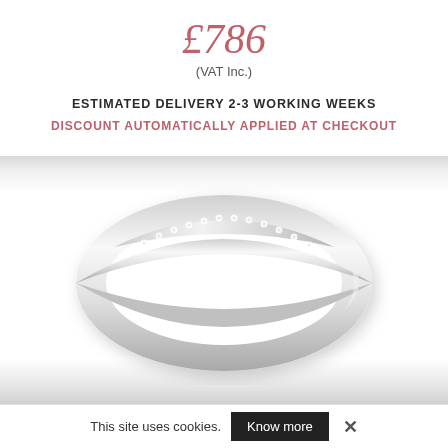£786
(VAT Inc.)
ESTIMATED DELIVERY 2-3 WORKING WEEKS
DISCOUNT AUTOMATICALLY APPLIED AT CHECKOUT
[Figure (photo): A silver diamond-set wedding/eternity ring with pavé-set diamonds along the top band, photographed against a light grey gradient background.]
This site uses cookies.  Know more  ✕